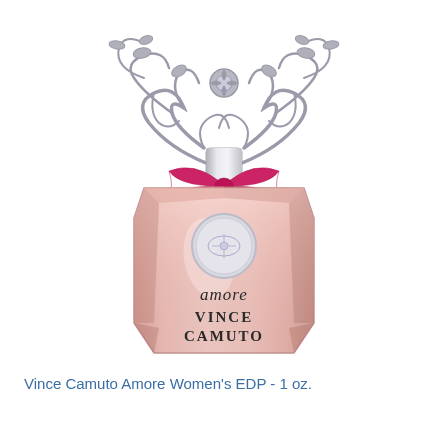[Figure (illustration): Vince Camuto Amore Women's EDP perfume bottle - pink glass faceted bottle with decorative silver filigree cap shaped like a floral/tree motif, pink ribbon bow at neck, silver medallion logo on front, text 'amore VINCE CAMUTO' on bottle]
Vince Camuto Amore Women's EDP - 1 oz.